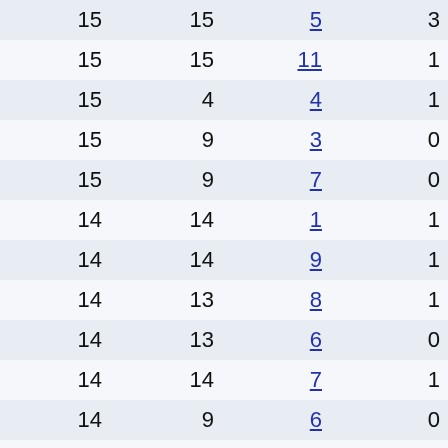| 15 | 15 | 5 | 3 |
| 15 | 15 | 11 | 1 |
| 15 | 4 | 4 | 1 |
| 15 | 9 | 3 | 0 |
| 15 | 9 | 7 | 0 |
| 14 | 14 | 1 | 1 |
| 14 | 14 | 9 | 1 |
| 14 | 13 | 8 | 1 |
| 14 | 13 | 6 | 0 |
| 14 | 14 | 7 | 1 |
| 14 | 9 | 6 | 0 |
| 14 | 7 | 6 | 1 |
| 14 | 14 | 4 | 0 |
| 14 | 10 | 10 | 1 |
| 14 | 14 | 4 | 0 |